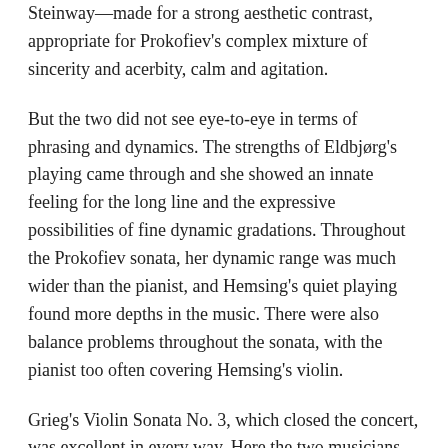Steinway—made for a strong aesthetic contrast, appropriate for Prokofiev's complex mixture of sincerity and acerbity, calm and agitation.
But the two did not see eye-to-eye in terms of phrasing and dynamics. The strengths of Eldbjørg's playing came through and she showed an innate feeling for the long line and the expressive possibilities of fine dynamic gradations. Throughout the Prokofiev sonata, her dynamic range was much wider than the pianist, and Hemsing's quiet playing found more depths in the music. There were also balance problems throughout the sonata, with the pianist too often covering Hemsing's violin.
Grieg's Violin Sonata No. 3, which closed the concert, was excellent in every way. Here the two musicians were wholly simpatico—in coordination on phrasing, dynamics, and also